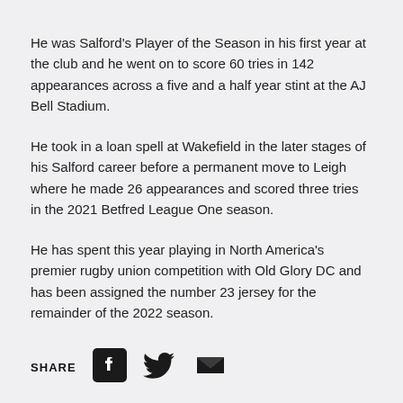He was Salford's Player of the Season in his first year at the club and he went on to score 60 tries in 142 appearances across a five and a half year stint at the AJ Bell Stadium.
He took in a loan spell at Wakefield in the later stages of his Salford career before a permanent move to Leigh where he made 26 appearances and scored three tries in the 2021 Betfred League One season.
He has spent this year playing in North America's premier rugby union competition with Old Glory DC and has been assigned the number 23 jersey for the remainder of the 2022 season.
SHARE [Facebook] [Twitter] [Email]